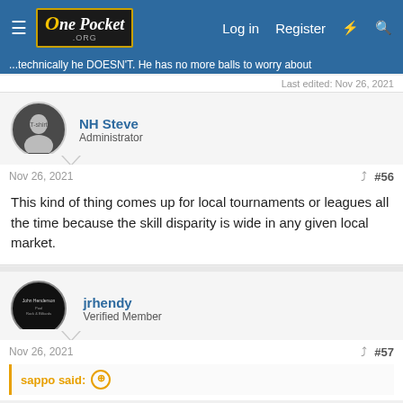One Pocket .ORG — Log in  Register
...technically he DOESN'T. He has no more balls to worry about
Last edited: Nov 26, 2021
NH Steve
Administrator
Nov 26, 2021  #56
This kind of thing comes up for local tournaments or leagues all the time because the skill disparity is wide in any given local market.
jrhendy
Verified Member
Nov 26, 2021  #57
sappo said: